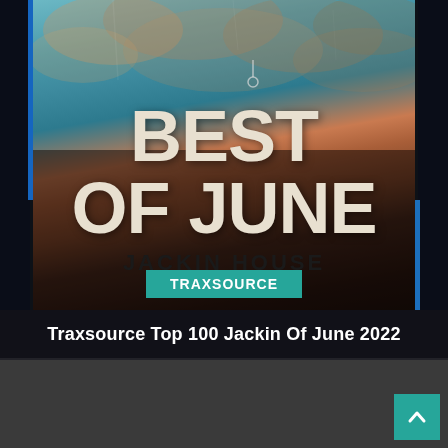[Figure (illustration): Album cover artwork for 'Best Of June – Jackin House' by Traxsource. Shows large bold white text 'BEST OF JUNE' over a dramatic sky with orange-tinted clouds, dark moody tones. 'JACKIN HOUSE' in dark text below, with a teal 'TRAXSOURCE' badge. Dark wooden/panel borders on sides.]
Traxsource Top 100 Jackin Of June 2022
[Figure (screenshot): Dark grey content area below title, partially visible, represents a webpage or app background panel. Teal scroll-to-top arrow button in bottom-right corner.]